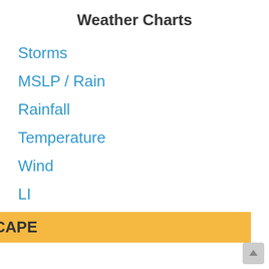Weather Charts
Storms
MSLP / Rain
Rainfall
Temperature
Wind
LI
CAPE